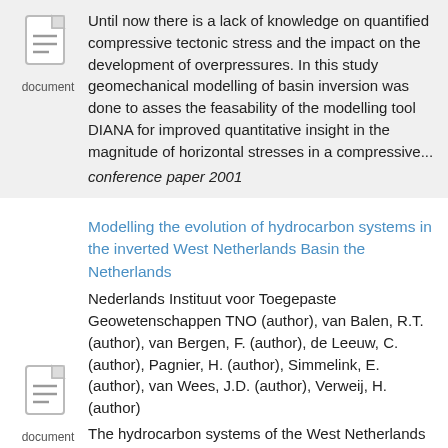[Figure (illustration): Document icon with lines, labeled 'document']
Until now there is a lack of knowledge on quantified compressive tectonic stress and the impact on the development of overpressures. In this study geomechanical modelling of basin inversion was done to asses the feasability of the modelling tool DIANA for improved quantitative insight in the magnitude of horizontal stresses in a compressive...
conference paper 2001
Modelling the evolution of hydrocarbon systems in the inverted West Netherlands Basin the Netherlands
Nederlands Instituut voor Toegepaste Geowetenschappen TNO (author), van Balen, R.T. (author), van Bergen, F. (author), de Leeuw, C. (author), Pagnier, H. (author), Simmelink, E. (author), van Wees, J.D. (author), Verweij, H. (author)
[Figure (illustration): Document icon with lines, labeled 'document']
The hydrocarbon systems of the West Netherlands Basin are analysed using the two-dimensional forward modelling. Three source rock intervals are considered in the modelling. The history of